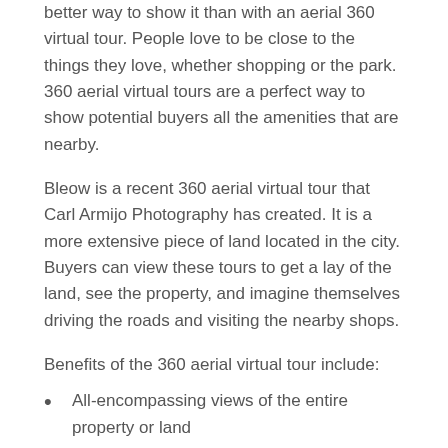better way to show it than with an aerial 360 virtual tour. People love to be close to the things they love, whether shopping or the park. 360 aerial virtual tours are a perfect way to show potential buyers all the amenities that are nearby.
Bleow is a recent 360 aerial virtual tour that Carl Armijo Photography has created. It is a more extensive piece of land located in the city. Buyers can view these tours to get a lay of the land, see the property, and imagine themselves driving the roads and visiting the nearby shops.
Benefits of the 360 aerial virtual tour include:
All-encompassing views of the entire property or land
The neighborhood and surrounding area
Proximity to amenities
Key home features including outbuildings and pools.